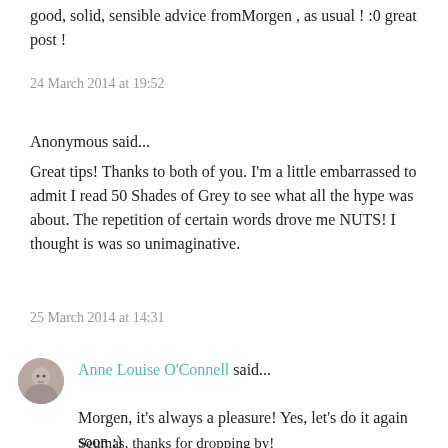good, solid, sensible advice fromMorgen , as usual ! :0 great post !
24 March 2014 at 19:52
Anonymous said...
Great tips! Thanks to both of you. I'm a little embarrassed to admit I read 50 Shades of Grey to see what all the hype was about. The repetition of certain words drove me NUTS! I thought is was so unimaginative.
25 March 2014 at 14:31
Anne Louise O'Connell said...
Morgen, it's always a pleasure! Yes, let's do it again soon :)
Seumas, thanks for dropping by!